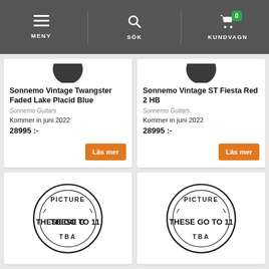MENY | SÖK | KUNDVAGN 0
Sonnemo Vintage Twangster Faded Lake Placid Blue
Sonnemo Guitars
Kommer in juni 2022
28995 :-
Läs mer
Sonnemo Vintage ST Fiesta Red 2 HB
Sonnemo Guitars
Kommer in juni 2022
28995 :-
Läs mer
[Figure (logo): PICTURE THESE GO TO 11 TBA placeholder logo, circular stamp design]
[Figure (logo): PICTURE THESE GO TO 11 TBA placeholder logo, circular stamp design]